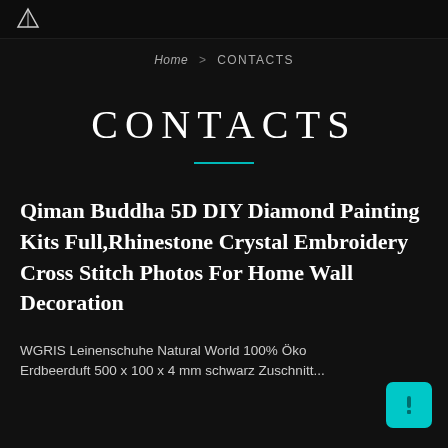Home > CONTACTS
CONTACTS
Qiman Buddha 5D DIY Diamond Painting Kits Full,Rhinestone Crystal Embroidery Cross Stitch Photos For Home Wall Decoration
WGRIS Leinenschuhe Natural World 100% Öko Erdbeerduft 500 x 100 x 4 mm schwarz Zuschnitt...